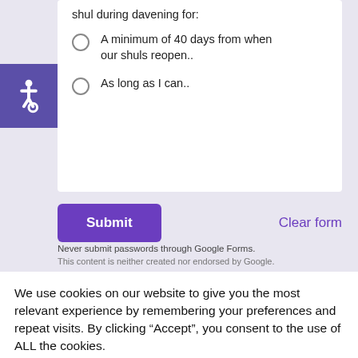shul during davening for:
A minimum of 40 days from when our shuls reopen..
As long as I can..
Submit
Clear form
Never submit passwords through Google Forms.
This content is neither created nor endorsed by Google.
We use cookies on our website to give you the most relevant experience by remembering your preferences and repeat visits. By clicking “Accept”, you consent to the use of ALL the cookies.
Cookie settings
ACCEPT